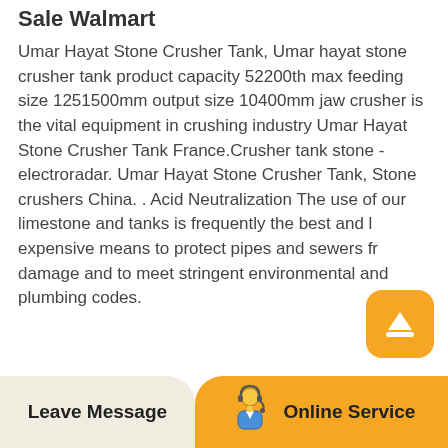Sale Walmart
Umar Hayat Stone Crusher Tank, Umar hayat stone crusher tank product capacity 52200th max feeding size 1251500mm output size 10400mm jaw crusher is the vital equipment in crushing industry Umar Hayat Stone Crusher Tank France.Crusher tank stone - electroradar. Umar Hayat Stone Crusher Tank, Stone crushers China. . Acid Neutralization The use of our limestone and tanks is frequently the best and least expensive means to protect pipes and sewers from damage and to meet stringent environmental and plumbing codes.
[Figure (illustration): Scroll-to-top button: orange rounded square with a hat/upward arrow icon]
[Figure (illustration): Footer bar with two sections: left beige 'Leave Message', right orange 'Online Service' with a customer service agent icon]